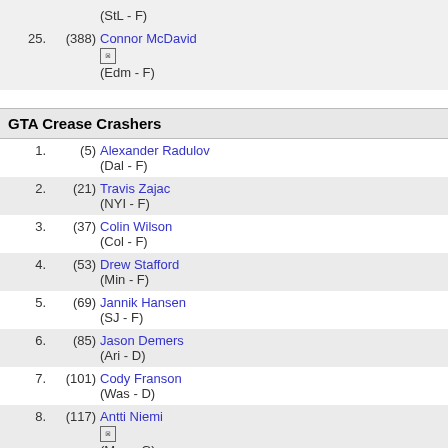(StL - F)
25. (388) Connor McDavid
(Edm - F)
GTA Crease Crashers
1. (5) Alexander Radulov (Dal - F)
2. (21) Travis Zajac (NYI - F)
3. (37) Colin Wilson (Col - F)
4. (53) Drew Stafford (Min - F)
5. (69) Jannik Hansen (SJ - F)
6. (85) Jason Demers (Ari - D)
7. (101) Cody Franson (Was - D)
8. (117) Antti Niemi (Mon - G)
9. (133) Ben Bishop (Buf - G)